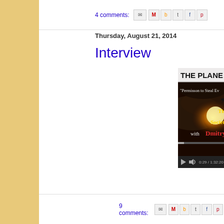4 comments:
Thursday, August 21, 2014
Interview
[Figure (screenshot): Video player showing 'THE PLANE TRUTH' with subtitle text 'Permisson to Steal Ev... and Thoug... Societies Tha... with Dmitry O... Time...' — video timestamp 0:29 / 1:32:20]
9 comments: